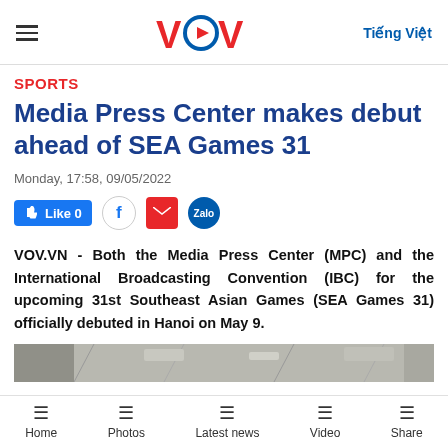VOV — Tiếng Việt
SPORTS
Media Press Center makes debut ahead of SEA Games 31
Monday, 17:58, 09/05/2022
Like 0 / Facebook / Email / Zalo social share buttons
VOV.VN - Both the Media Press Center (MPC) and the International Broadcasting Convention (IBC) for the upcoming 31st Southeast Asian Games (SEA Games 31) officially debuted in Hanoi on May 9.
[Figure (photo): Partial view of a photo related to the Media Press Center at SEA Games 31]
Home | Photos | Latest news | Video | Share